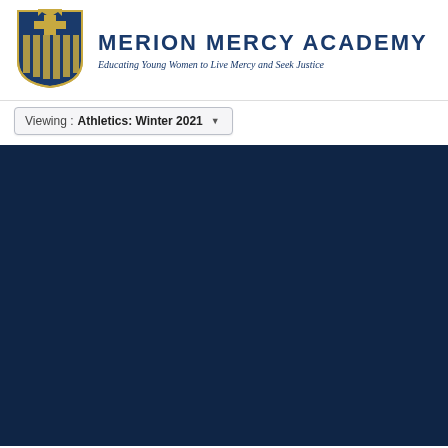[Figure (logo): Merion Mercy Academy shield/crest logo with crown at top, cross, and vertical gold stripes on blue background]
MERION MERCY ACADEMY
Educating Young Women to Live Mercy and Seek Justice
Viewing : Athletics: Winter 2021